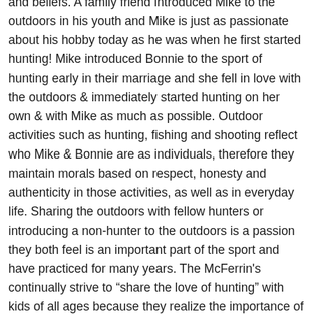and beliefs. A family friend introduced Mike to the outdoors in his youth and Mike is just as passionate about his hobby today as he was when he first started hunting! Mike introduced Bonnie to the sport of hunting early in their marriage and she fell in love with the outdoors & immediately started hunting on her own & with Mike as much as possible. Outdoor activities such as hunting, fishing and shooting reflect who Mike & Bonnie are as individuals, therefore they maintain morals based on respect, honesty and authenticity in those activities, as well as in everyday life. Sharing the outdoors with fellow hunters or introducing a non-hunter to the outdoors is a passion they both feel is an important part of the sport and have practiced for many years. The McFerrin's continually strive to “share the love of hunting” with kids of all ages because they realize the importance of passing down the heritage of hunting to the next generation.